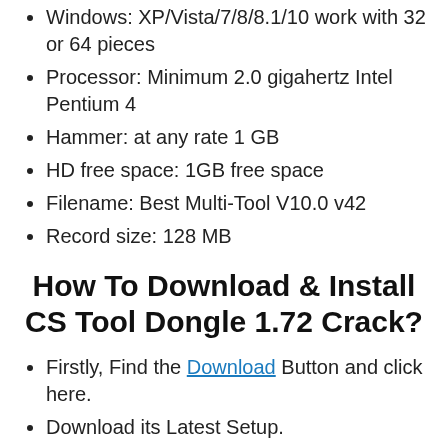Windows: XP/Vista/7/8/8.1/10 work with 32 or 64 pieces
Processor: Minimum 2.0 gigahertz Intel Pentium 4
Hammer: at any rate 1 GB
HD free space: 1GB free space
Filename: Best Multi-Tool V10.0 v42
Record size: 128 MB
How To Download & Install CS Tool Dongle 1.72 Crack?
Firstly, Find the Download Button and click here.
Download its Latest Setup.
Open Download Folder to run